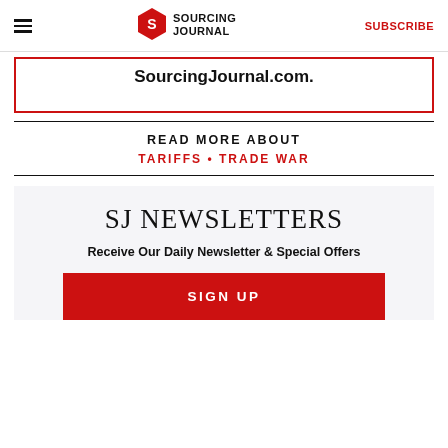Sourcing Journal — SUBSCRIBE
SourcingJournal.com.
READ MORE ABOUT
TARIFFS • TRADE WAR
SJ NEWSLETTERS
Receive Our Daily Newsletter & Special Offers
SIGN UP